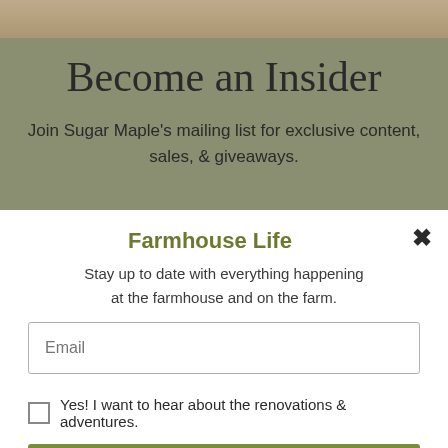[Figure (photo): Partially visible photo strip at top showing colorful food or items]
Become an Insider
Join Sugar Maple's mailing list for exclusive content, sales, & giveaways.
Farmhouse Life
Stay up to date with everything happening at the farmhouse and on the farm.
Email
Yes! I want to hear about the renovations & adventures.
SUBSCRIBE